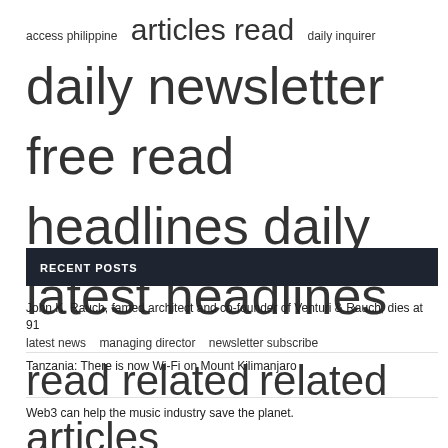[Figure (infographic): Tag cloud with terms of varying sizes: access philippine (small), articles read (large), daily inquirer (small), daily newsletter (very large), free read (very large), headlines daily (very large), latest headlines (very large), latest news (small), managing director (small), newsletter subscribe (small), read related (large), related articles (large), subscribe free (medium), titles share (small), united states (very large)]
RECENT POSTS
John K. Rauch, famed architect and co-founder of Venturi & Rauch, dies at 91
Tanzania: There is now Wi-Fi on Mount Kilimanjaro
Web3 can help the music industry save the planet.